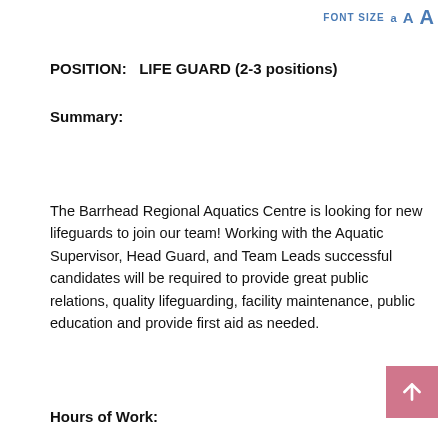FONT SIZE  a A A
POSITION:   LIFE GUARD (2-3 positions)
Summary:
The Barrhead Regional Aquatics Centre is looking for new lifeguards to join our team! Working with the Aquatic Supervisor, Head Guard, and Team Leads successful candidates will be required to provide great public relations, quality lifeguarding, facility maintenance, public education and provide first aid as needed.
Hours of Work: